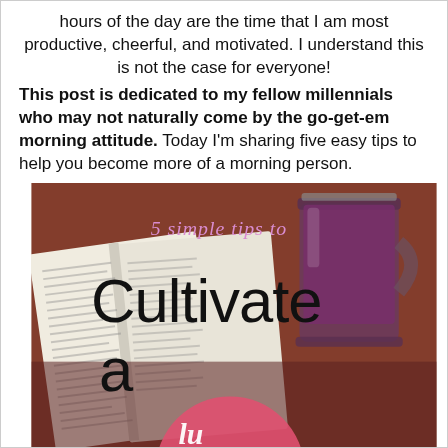hours of the day are the time that I am most productive, cheerful, and motivated. I understand this is not the case for everyone! This post is dedicated to my fellow millennials who may not naturally come by the go-get-em morning attitude. Today I'm sharing five easy tips to help you become more of a morning person.
[Figure (photo): Photo of an open book and a glass mason jar with purple/dark juice on a wooden table, with overlaid text reading '5 simple tips to Cultivate a' and a pink circular element at the bottom suggesting more text below.]